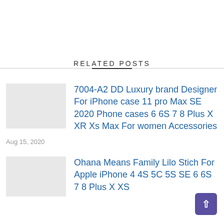RELATED POSTS
7004-A2 DD Luxury brand Designer For iPhone case 11 pro Max SE 2020 Phone cases 6 6S 7 8 Plus X XR Xs Max For women Accessories
Aug 15, 2020
Ohana Means Family Lilo Stich For Apple iPhone 4 4S 5C 5S SE 6 6S 7 8 Plus X XS